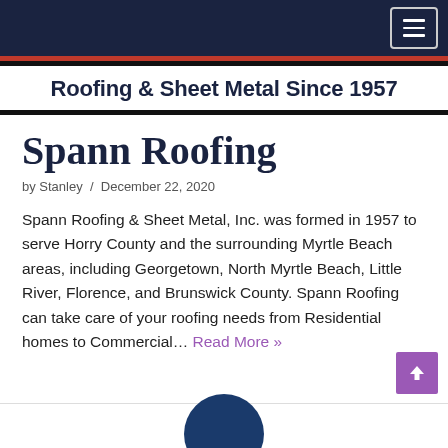Roofing & Sheet Metal Since 1957
Spann Roofing
by Stanley / December 22, 2020
Spann Roofing & Sheet Metal, Inc. was formed in 1957 to serve Horry County and the surrounding Myrtle Beach areas, including Georgetown, North Myrtle Beach, Little River, Florence, and Brunswick County. Spann Roofing can take care of your roofing needs from Residential homes to Commercial… Read More »